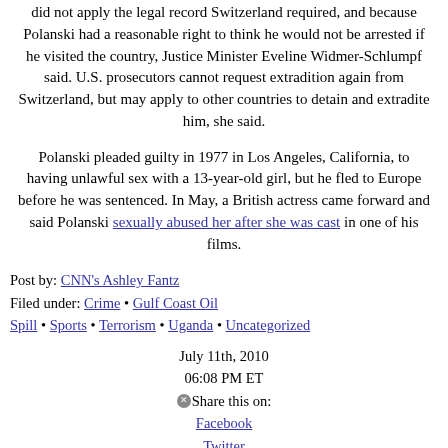did not apply the legal record Switzerland required, and because Polanski had a reasonable right to think he would not be arrested if he visited the country, Justice Minister Eveline Widmer-Schlumpf said. U.S. prosecutors cannot request extradition again from Switzerland, but may apply to other countries to detain and extradite him, she said.
Polanski pleaded guilty in 1977 in Los Angeles, California, to having unlawful sex with a 13-year-old girl, but he fled to Europe before he was sentenced. In May, a British actress came forward and said Polanski sexually abused her after she was cast in one of his films.
Post by: CNN's Ashley Fantz
Filed under: Crime • Gulf Coast Oil Spill • Sports • Terrorism • Uganda • Uncategorized
July 11th, 2010
06:08 PM ET
Share this on:
Facebook
Twitter
Digg
del.icio.us
reddit
MySpace
StumbleUpon